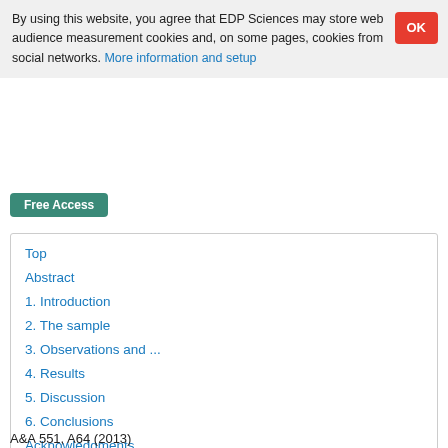By using this website, you agree that EDP Sciences may store web audience measurement cookies and, on some pages, cookies from social networks. More information and setup
Free Access
Top
Abstract
1. Introduction
2. The sample
3. Observations and ...
4. Results
5. Discussion
6. Conclusions
Acknowledgments
References
List of tables
List of figures
A&A 551, A64 (2013)